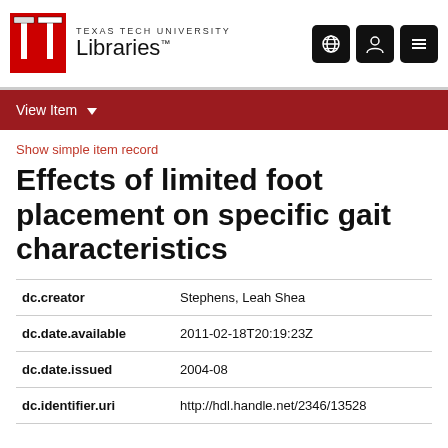[Figure (logo): Texas Tech University Libraries logo with TTU double-T mark in red and black, and navigation icons (globe, person, menu) in black rounded squares]
View Item ▾
Show simple item record
Effects of limited foot placement on specific gait characteristics
| Field | Value |
| --- | --- |
| dc.creator | Stephens, Leah Shea |
| dc.date.available | 2011-02-18T20:19:23Z |
| dc.date.issued | 2004-08 |
| dc.identifier.uri | http://hdl.handle.net/2346/13528 |